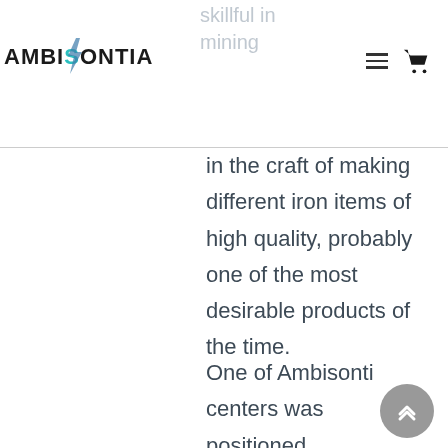AMBISONTIA
skillful in mining ore, as well as in the craft of making different iron items of high quality, probably one of the most desirable products of the time.
One of Ambisonti centers was positioned